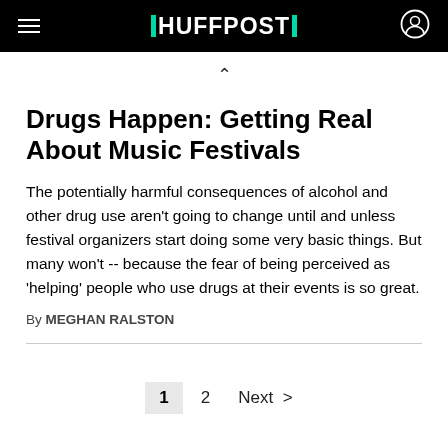HUFFPOST
Drugs Happen: Getting Real About Music Festivals
The potentially harmful consequences of alcohol and other drug use aren't going to change until and unless festival organizers start doing some very basic things. But many won't -- because the fear of being perceived as 'helping' people who use drugs at their events is so great.
By MEGHAN RALSTON
1  2  Next >